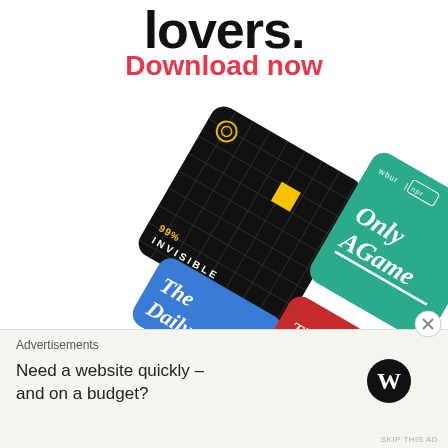lovers.
Download now
[Figure (illustration): Rotated collage of podcast app cover art: 99% Invisible (black grid with yellow square), Only A Game (teal with white script, wbur|npr logo), The Daily (blue gradient), This American Life (red, partial)]
Advertisements
Need a website quickly – and on a budget?
[Figure (logo): WordPress logo - black W in circle]